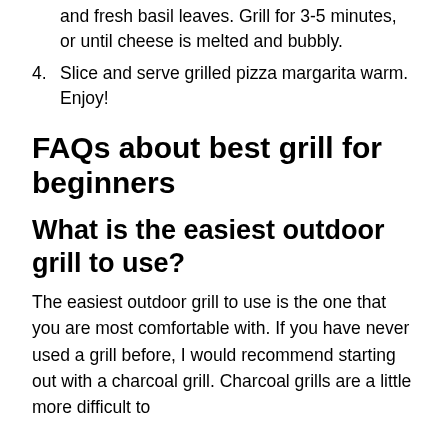and fresh basil leaves. Grill for 3-5 minutes, or until cheese is melted and bubbly.
4. Slice and serve grilled pizza margarita warm. Enjoy!
FAQs about best grill for beginners
What is the easiest outdoor grill to use?
The easiest outdoor grill to use is the one that you are most comfortable with. If you have never used a grill before, I would recommend starting out with a charcoal grill. Charcoal grills are a little more difficult to